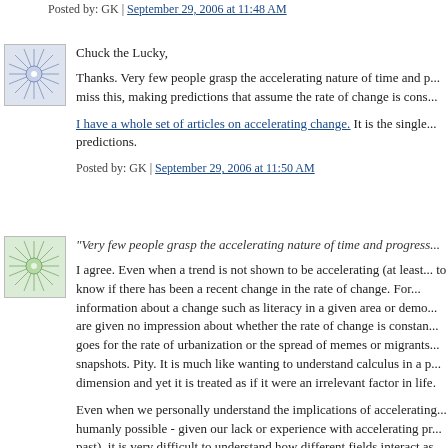Posted by: GK | September 29, 2006 at 11:48 AM
[Figure (illustration): Avatar icon with blue geometric snowflake/star pattern on light background]
Chuck the Lucky,
Thanks. Very few people grasp the accelerating nature of time and p... miss this, making predictions that assume the rate of change is cons...
I have a whole set of articles on accelerating change. It is the single... predictions.
Posted by: GK | September 29, 2006 at 11:50 AM
[Figure (illustration): Avatar icon with green geometric snowflake/star pattern on light background]
"Very few people grasp the accelerating nature of time and progress...
I agree. Even when a trend is not shown to be accelerating (at least... to know if there has been a recent change in the rate of change. For... information about a change such as literacy in a given area or demo... are given no impression about whether the rate of change is constan... goes for the rate of urbanization or the spread of memes or migrants... snapshots. Pity. It is much like wanting to understand calculus in a p... dimension and yet it is treated as if it were an irrelevant factor in life.
Even when we personally understand the implications of accelerating... humanly possible - given our lack or experience with accelerating pr... past), it is very difficult to understand how different fields interact as t... one sees an implication that one has not considered before it is quite...
I have been wondering lately (as many have) if there is a way to ma... technology and, to an extent science in general are driving most asp...